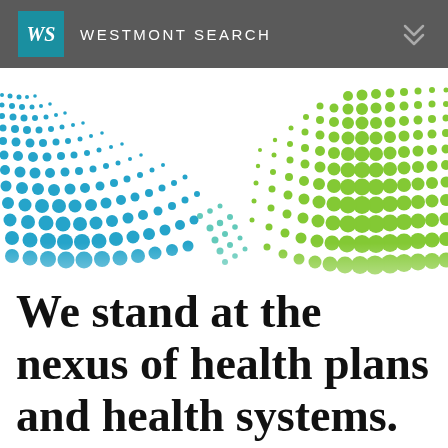WS WESTMONT SEARCH
[Figure (illustration): Decorative wave pattern made of blue and green dots converging in the center, blue dots on the left fanning outward and green dots on the right, meeting at a nexus in the middle]
We stand at the nexus of health plans and health systems.